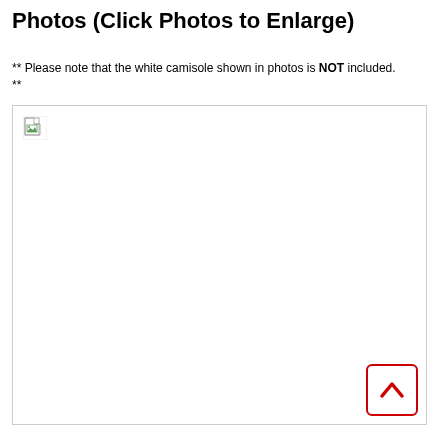Photos (Click Photos to Enlarge)
** Please note that the white camisole shown in photos is NOT included.
**
[Figure (photo): Broken/unloaded image placeholder showing a small broken image icon in the top-left corner of a large white rectangular image area with a thin gray border.]